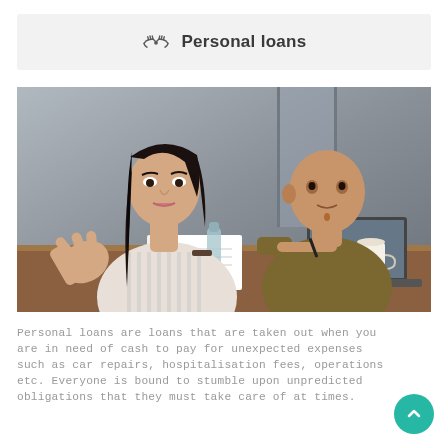Personal loans
[Figure (photo): Two people at a desk — a woman with long black hair gesturing and a bald man holding a pen over documents, with a laptop visible, in a meeting/consultation setting.]
Personal loans are loans that are taken out when you are in need of cash to pay for unexpected expenses such as car repairs, hospitalisation fees, operations etc. Everyone is bound to stumble upon unpredicted obligations that they must take care of at times.